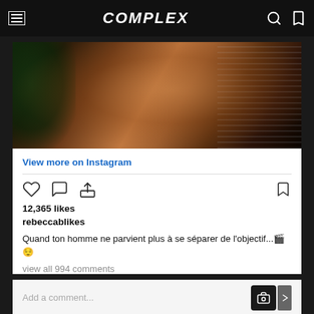COMPLEX
[Figure (photo): Close-up photo of a person in a shower scene with water streaming down, dark moody lighting with greenery in background]
View more on Instagram
12,365 likes
rebeccablikes
Quand ton homme ne parvient plus à se séparer de l'objectif...🎬😌
view all 994 comments
Add a comment...